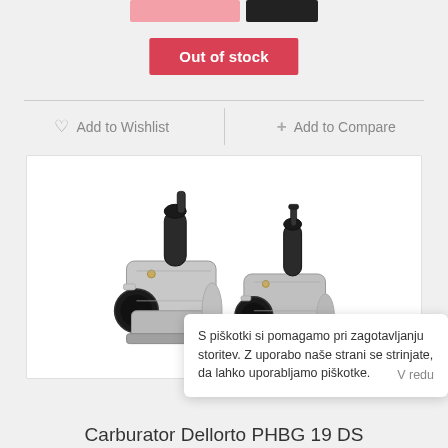[Figure (other): Pink and black color swatches at the top of a product page]
Out of stock
Add to Wishlist
Add to Compare
[Figure (photo): Two Dellorto PHBG 19 DS carburetors shown side by side on a white background]
S piškotki si pomagamo pri zagotavljanju storitev. Z uporabo naše strani se strinjate, da lahko uporabljamo piškotke. V redu
Carburator Dellorto PHBG 19 DS